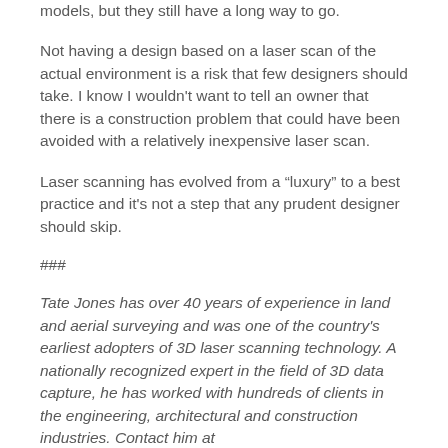models, but they still have a long way to go.
Not having a design based on a laser scan of the actual environment is a risk that few designers should take. I know I wouldn't want to tell an owner that there is a construction problem that could have been avoided with a relatively inexpensive laser scan.
Laser scanning has evolved from a “luxury” to a best practice and it's not a step that any prudent designer should skip.
###
Tate Jones has over 40 years of experience in land and aerial surveying and was one of the country's earliest adopters of 3D laser scanning technology. A nationally recognized expert in the field of 3D data capture, he has worked with hundreds of clients in the engineering, architectural and construction industries. Contact him at